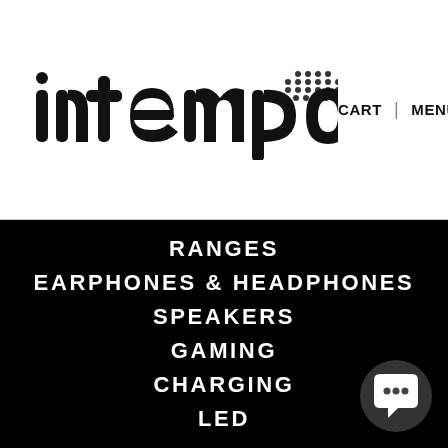[Figure (logo): Intempo logo with dot-matrix plus symbol in top-left header area]
CART   |   MENU
RANGES
EARPHONES & HEADPHONES
SPEAKERS
GAMING
CHARGING
LED
[Figure (illustration): Chat/support bubble icon in bottom right corner]